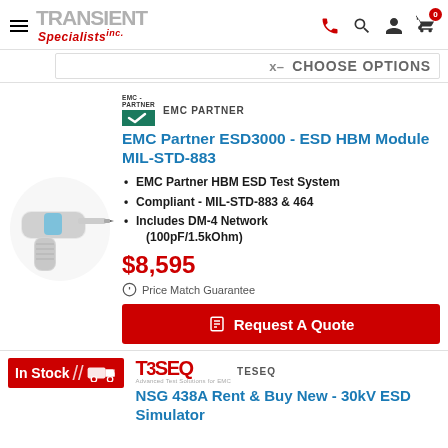Transient Specialists Inc.
x– Choose options
[Figure (logo): EMC Partner logo with teal background and checkmark]
EMC PARTNER
EMC Partner ESD3000 - ESD HBM Module MIL-STD-883
EMC Partner HBM ESD Test System
Compliant - MIL-STD-883 & 464
Includes DM-4 Network (100pF/1.5kOhm)
$8,595
Price Match Guarantee
Request A Quote
In Stock
[Figure (logo): TESEQ logo in red]
TESEQ
NSG 438A Rent & Buy New - 30kV ESD Simulator